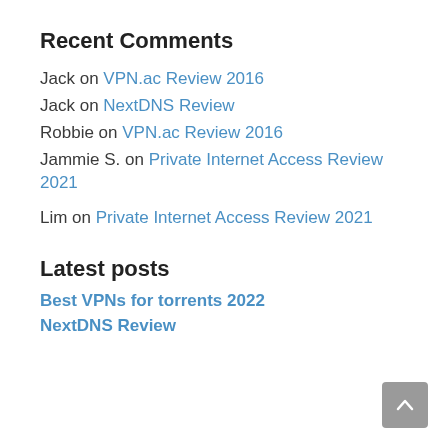Recent Comments
Jack on VPN.ac Review 2016
Jack on NextDNS Review
Robbie on VPN.ac Review 2016
Jammie S. on Private Internet Access Review 2021
Lim on Private Internet Access Review 2021
Latest posts
Best VPNs for torrents 2022
NextDNS Review